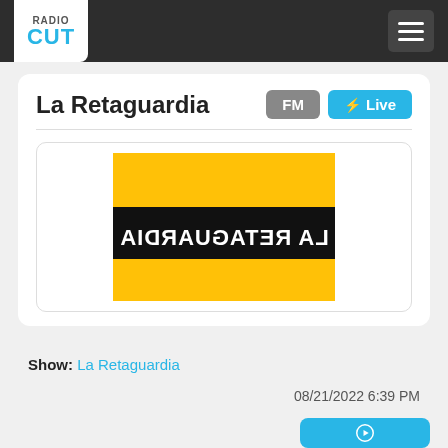Radio Cut — navigation bar with logo and hamburger menu
La Retaguardia
FM  Live
[Figure (logo): La Retaguardia radio show logo: yellow square background with black horizontal band containing white mirrored/reversed bold text reading LA RETAGUARDIA]
Show: La Retaguardia
08/21/2022 6:39 PM